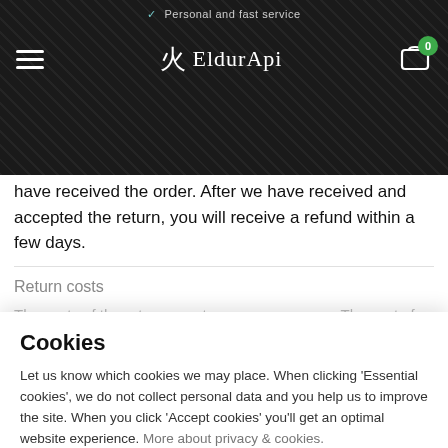✓ Personal and fast service
[Figure (logo): EldurApi logo with flame icon, hamburger menu, and cart icon with badge 0]
have received the order. After we have received and accepted the return, you will receive a refund within a few days.
Return costs
The costs of the return are at your own expense. The cost of returning depends on the parcel service with which you send the package. Make sure you send the package with a tracking code so you can always track the package.
Exchange
Want another article in place? Then we ask you to return the item and place a new order.
Cookies
Let us know which cookies we may place. When clicking 'Essential cookies', we do not collect personal data and you help us to improve the site. When you click 'Accept cookies' you'll get an optimal website experience. More about privacy & cookies.
Essential cookies
ACCEPT ALL COOKIES